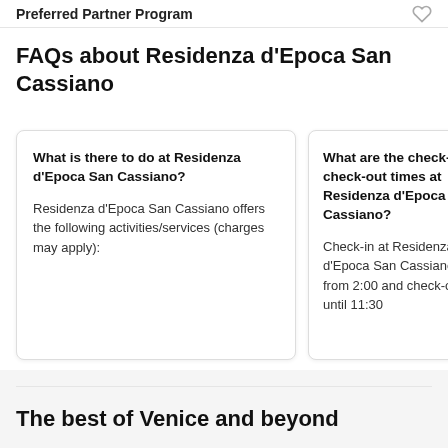Preferred Partner Program
FAQs about Residenza d'Epoca San Cassiano
What is there to do at Residenza d'Epoca San Cassiano?
Residenza d'Epoca San Cassiano offers the following activities/services (charges may apply):
What are the check-in and check-out times at Residenza d'Epoca San Cassiano?
Check-in at Residenza d'Epoca San Cassiano is from 2:00 and check-out is until 11:30
The best of Venice and beyond